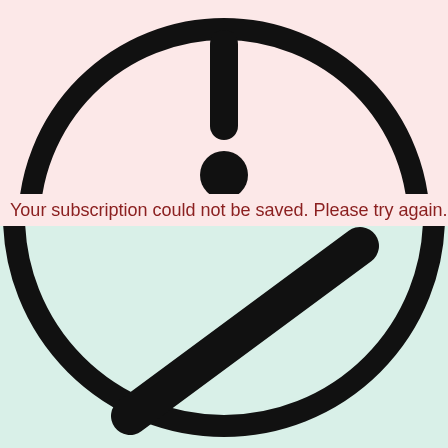[Figure (illustration): Large black circle outline with an exclamation mark (vertical bar and dot) in the center, on a pink background. The circle is cropped — only the upper portion is visible.]
Your subscription could not be saved. Please try again.
[Figure (illustration): Large black circle outline with a diagonal slash symbol in the center, on a mint green background. Only the upper portion of the circle is visible.]